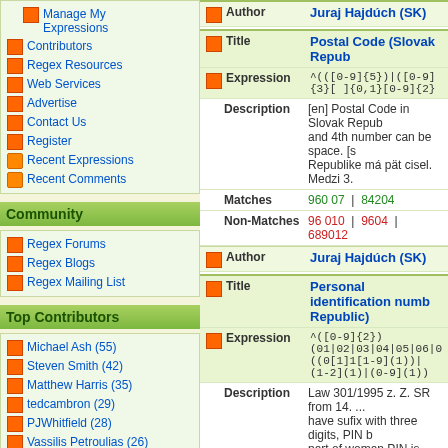Manage My Expressions
Contributors
Regex Resources
Web Services
Advertise
Contact Us
Register
Recent Expressions
Recent Comments
Community
Regex Forums
Regex Blogs
Regex Mailing List
Top Contributors
Michael Ash (55)
Steven Smith (42)
Matthew Harris (35)
tedcambron (29)
PJWhitfield (28)
Vassilis Petroulias (26)
Matt Brooke (22)
Juraj Hajdúch (SK)
| Field | Value |
| --- | --- |
| Author | Juraj Hajdúch (SK) |
| Title | Postal Code (Slovak Repub... |
| Expression | ^(([0-9]{5})|([0-9]{3}[ ]{0,1}[0-9]{2} |
| Description | [en] Postal Code in Slovak Repub... and 4th number can be space. [s... Republike má pät cisel. Medzi 3. |
| Matches | 960 07  |  84204 |
| Non-Matches | 96 010  |  9604  |  689012 |
| Author | Juraj Hajdúch (SK) |
| Title | Personal identification numb... Republic) |
| Expression | ^([0-9]{2}) (01|02|03|04|05|06|07|08|09|10|1... ((0[1]1[1-9](1))|(1-2](1)|(0-9](1))... |
| Description | Law 301/1995 z. Z. SR from 14. ... have sufix with three digits, PIN b... part of woman PIN is month of bi... |
| Matches | 760612/5689  |  826020/5568  |  ... |
| Non-Matches | 680645/256  |  707212/1258  |  ... |
| Author | Juraj Hajdúch (SK) |